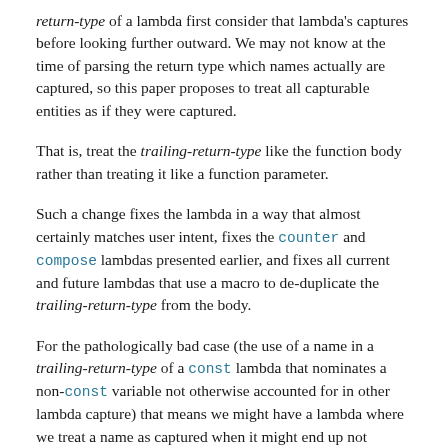return-type of a lambda first consider that lambda's captures before looking further outward. We may not know at the time of parsing the return type which names actually are captured, so this paper proposes to treat all capturable entities as if they were captured.
That is, treat the trailing-return-type like the function body rather than treating it like a function parameter.
Such a change fixes the lambda in a way that almost certainly matches user intent, fixes the counter and compose lambdas presented earlier, and fixes all current and future lambdas that use a macro to de-duplicate the trailing-return-type from the body.
For the pathologically bad case (the use of a name in a trailing-return-type of a const lambda that nominates a non-const variable not otherwise accounted for in other lambda capture) that means we might have a lambda where we treat a name as captured when it might end up not actually having been captured - which would be a mistreatment in the opposite direction of the problem that